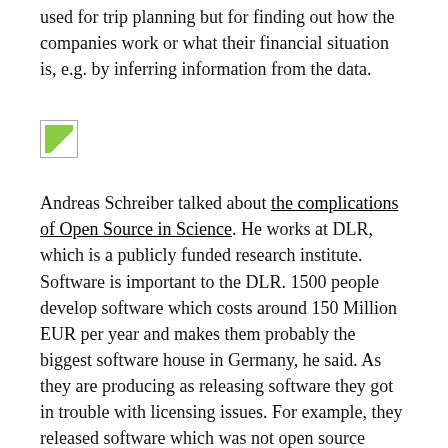used for trip planning but for finding out how the companies work or what their financial situation is, e.g. by inferring information from the data.
[Figure (photo): Small broken/placeholder image icon]
Andreas Schreiber talked about the complications of Open Source in Science. He works at DLR, which is a publicly funded research institute. Software is important to the DLR. 1500 people develop software which costs around 150 Million EUR per year and makes them probably the biggest software house in Germany, he said. As they are producing as releasing software they got in trouble with licensing issues. For example, they released software which was not open source although they thought it was. They also used software themselves which they may not have been entitled to use. Their CIO eventually issued a warning regarding the use and release of Open